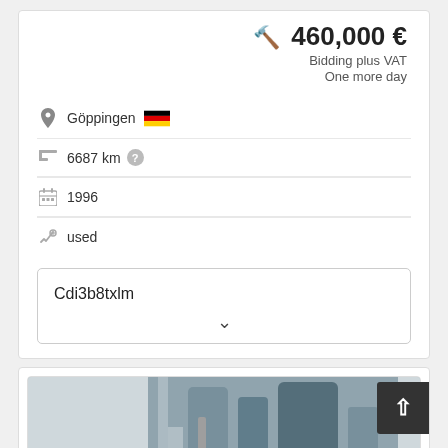460,000 € — Bidding plus VAT, One more day
Göppingen (Germany flag)
6687 km
1996
used
Cdi3b8txlm
[Figure (screenshot): Industrial machinery thumbnail with Save search query orange button overlay]
Save search query